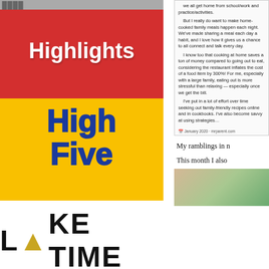[Figure (logo): Partially visible logo bar at top left, dark gray letters]
[Figure (illustration): Highlights High Five magazine cover: red top half with white 'Highlights' text, yellow bottom half with blue 'High Five' text in bold handwritten style]
[Figure (screenshot): Right column article screenshot with text snippet about home-cooked family meals, saving money, dated January 2020 mrparent.com]
My ramblings in n
This month I also
[Figure (photo): Partial photo at bottom right, showing beige and green colors]
[Figure (logo): LAKE TIME logo at bottom left, bold black letters with a gold/amber caret/chevron replacing the A]